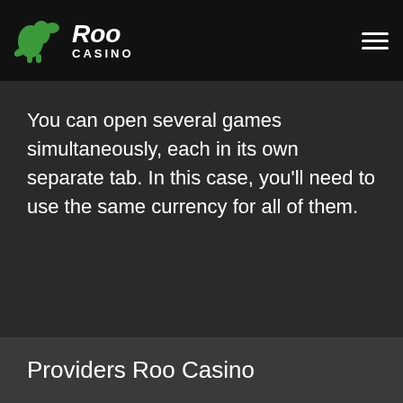Roo Casino
You can open several games simultaneously, each in its own separate tab. In this case, you'll need to use the same currency for all of them.
Providers Roo Casino